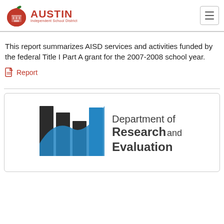Austin Independent School District
This report summarizes AISD services and activities funded by the federal Title I Part A grant for the 2007-2008 school year.
Report
[Figure (logo): Department of Research and Evaluation logo with bar chart graphic in black and blue]